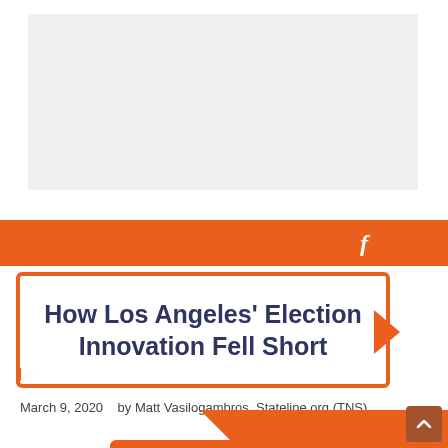[Figure (other): Gray placeholder banner at top of page, likely an advertisement or header image area]
[Figure (other): Orange navigation bar with Facebook 'f' icon on the right side]
How Los Angeles' Election Innovation Fell Short
March 9, 2020    by Matt Vasilogambros, Stateline.org (TNS)
[Figure (other): Orange decorative speech-bubble arrow graphic at bottom of page, partially cut off]